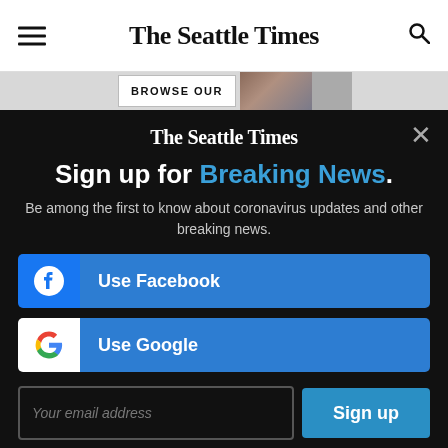The Seattle Times
[Figure (screenshot): Browse Our banner strip with partial photo]
The Seattle Times
Sign up for Breaking News.
Be among the first to know about coronavirus updates and other breaking news.
Use Facebook
Use Google
Your email address
Sign up
By signing up you are agreeing to our Privacy Policy and Terms of Service.